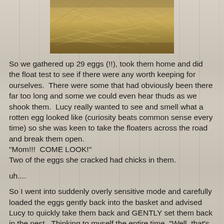[Figure (photo): Close-up photo of hay/straw, golden-brown dried grass, positioned at the top center of the page]
So we gathered up 29 eggs (!!), took them home and did the float test to see if there were any worth keeping for ourselves.  There were some that had obviously been there far too long and some we could even hear thuds as we shook them.  Lucy really wanted to see and smell what a rotten egg looked like (curiosity beats common sense every time) so she was keen to take the floaters across the road and break them open.
"Mom!!!  COME LOOK!"
Two of the eggs she cracked had chicks in them.
uh....
So I went into suddenly overly sensitive mode and carefully loaded the eggs gently back into the basket and advised Lucy to quickly take them back and GENTLY set them back in the nest.  Thinking to myself the entire time, "Well, that's likely futile.  First they had a bumpy ride over here, then we